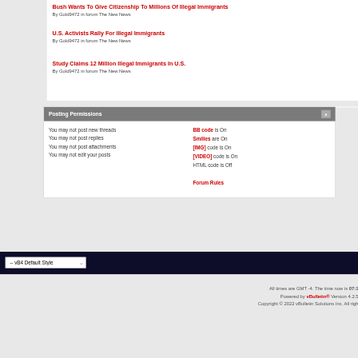Bush Wants To Give Citizenship To Millions Of Illegal Immigrants
By Gold9472 in forum The New News
U.S. Activists Rally For Illegal Immigrants
By Gold9472 in forum The New News
Study Claims 12 Million Illegal Immigrants In U.S.
By Gold9472 in forum The New News
Posting Permissions
You may not post new threads
You may not post replies
You may not post attachments
You may not edit your posts
BB code is On
Smilies are On
[IMG] code is On
[VIDEO] code is On
HTML code is Off
Forum Rules
-- vB4 Default Style
All times are GMT -4. The time now is 07:1
Powered by vBulletin® Version 4.2.5
Copyright © 2022 vBulletin Solutions Inc. All righ